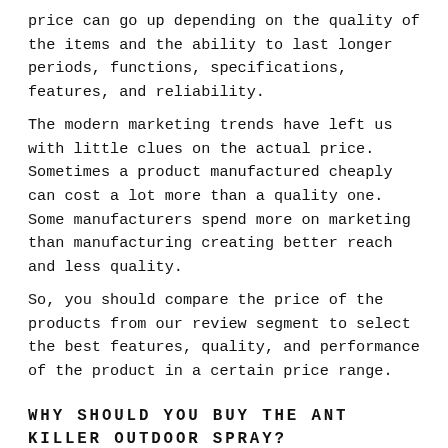price can go up depending on the quality of the items and the ability to last longer periods, functions, specifications, features, and reliability.
The modern marketing trends have left us with little clues on the actual price. Sometimes a product manufactured cheaply can cost a lot more than a quality one. Some manufacturers spend more on marketing than manufacturing creating better reach and less quality.
So, you should compare the price of the products from our review segment to select the best features, quality, and performance of the product in a certain price range.
WHY SHOULD YOU BUY THE ANT KILLER OUTDOOR SPRAY?